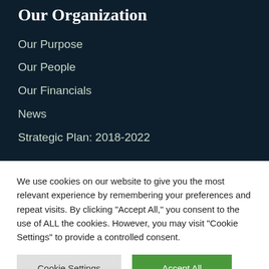Our Organization
Our Purpose
Our People
Our Financials
News
Strategic Plan: 2018-2022
We use cookies on our website to give you the most relevant experience by remembering your preferences and repeat visits. By clicking "Accept All," you consent to the use of ALL the cookies. However, you may visit "Cookie Settings" to provide a controlled consent.
Cookie Settings | Accept All